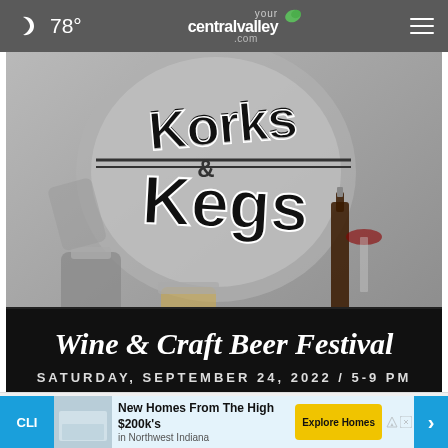78° yourcentralvalley.com
[Figure (photo): Korks & Kegs Wine & Craft Beer Festival promotional image. Black and white styled photo showing wine bottle, glasses, mason jar, beer cans, and fish, with 'Korks & Kegs' logo text. Below: black banner with cursive white text 'Wine & Craft Beer Festival' and 'SATURDAY, SEPTEMBER 24, 2022 / 5-9 PM']
[Figure (screenshot): Mobile website interaction bar with thumbs up icon, comment bubble icon, and close (X) circle button]
[Figure (screenshot): Advertisement banner: 'New Homes From The High $200k's in Northwest Indiana' with 'Explore Homes' CTA button and navigation arrow]